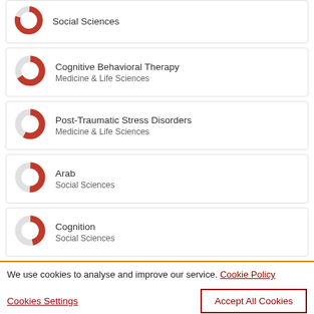Social Sciences
Cognitive Behavioral Therapy
Medicine & Life Sciences
Post-Traumatic Stress Disorders
Medicine & Life Sciences
Arab
Social Sciences
Cognition
Social Sciences
We use cookies to analyse and improve our service. Cookie Policy
Cookies Settings
Accept All Cookies